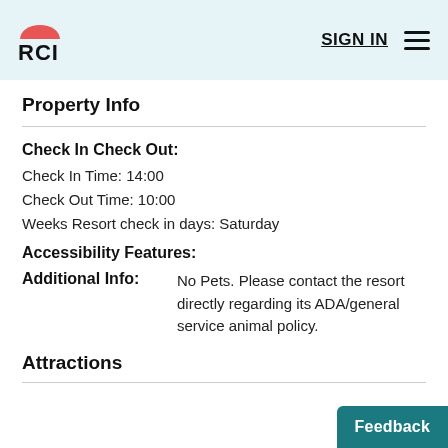RCI | SIGN IN
Property Info
Check In Check Out:
Check In Time: 14:00
Check Out Time: 10:00
Weeks Resort check in days: Saturday
Accessibility Features:
Additional Info: No Pets. Please contact the resort directly regarding its ADA/general service animal policy.
Attractions